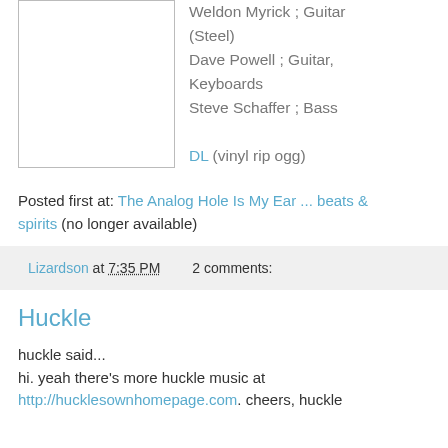[Figure (illustration): Album cover placeholder box with border]
Weldon Myrick ; Guitar (Steel)
Dave Powell ; Guitar, Keyboards
Steve Schaffer ; Bass

DL (vinyl rip ogg)
Posted first at: The Analog Hole Is My Ear ... beats & spirits (no longer available)
Lizardson at 7:35 PM   2 comments:
Huckle
huckle said...
hi. yeah there's more huckle music at http://hucklesownhomepage.com. cheers, huckle